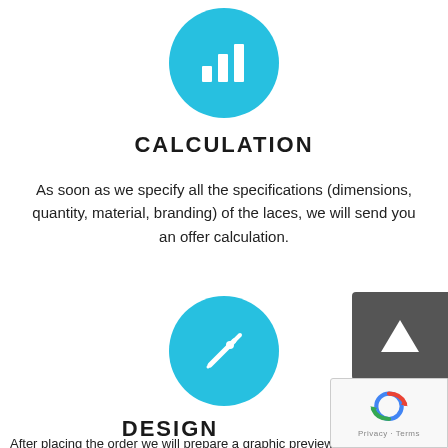[Figure (illustration): Cyan circle icon with white bar chart / stats icon inside]
CALCULATION
As soon as we specify all the specifications (dimensions, quantity, material, branding) of the laces, we will send you an offer calculation.
[Figure (illustration): Cyan circle icon with white pencil/edit icon inside]
DESIGN
After placing the order we will prepare a graphic preview...